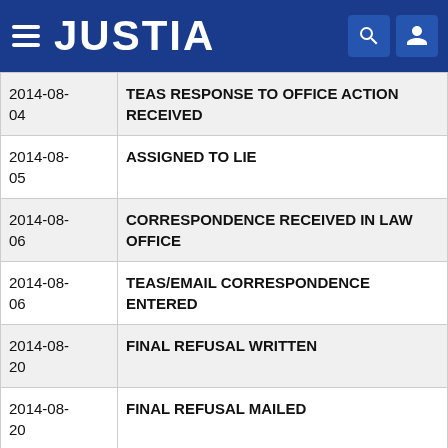JUSTIA
| Date | Event |
| --- | --- |
| 2014-08-
04 | TEAS RESPONSE TO OFFICE ACTION RECEIVED |
| 2014-08-
05 | ASSIGNED TO LIE |
| 2014-08-
06 | CORRESPONDENCE RECEIVED IN LAW OFFICE |
| 2014-08-
06 | TEAS/EMAIL CORRESPONDENCE ENTERED |
| 2014-08-
20 | FINAL REFUSAL WRITTEN |
| 2014-08-
20 | FINAL REFUSAL MAILED |
| 2014-12-
09 | EXAMINERS AMENDMENT -WRITTEN |